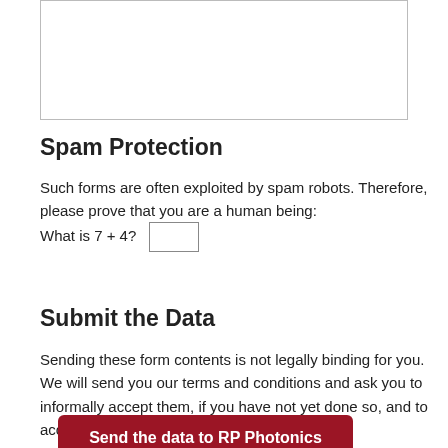[Figure (other): Empty text input box (form field) at the top of the page]
Spam Protection
Such forms are often exploited by spam robots. Therefore, please prove that you are a human being: What is 7 + 4?
Submit the Data
Sending these form contents is not legally binding for you. We will send you our terms and conditions and ask you to informally accept them, if you have not yet done so, and to accept the cost.
Send the data to RP Photonics